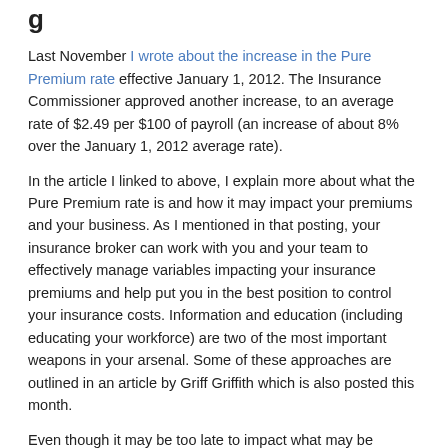g
Last November I wrote about the increase in the Pure Premium rate effective January 1, 2012.  The Insurance Commissioner approved another increase, to an average rate of $2.49 per $100 of payroll (an increase of about 8% over the January 1, 2012 average rate).
In the article I linked to above, I explain more about what the Pure Premium rate is and how it may impact your premiums and your business.  As I mentioned in that posting, your insurance broker can work with you and your team to effectively manage variables impacting your insurance premiums and help put you in the best position to control your insurance costs.  Information and education (including educating your workforce) are two of the most important weapons in your arsenal.  Some of these approaches are outlined in an article by Griff Griffith which is also posted this month.
Even though it may be too late to impact what may be happening with your rates if you are a July 1 renewal, it still makes sense to get with your broker and discuss action  steps, things you can change in your business now, to begin mitigating the costs and improve your position the next time you are up for renewal.